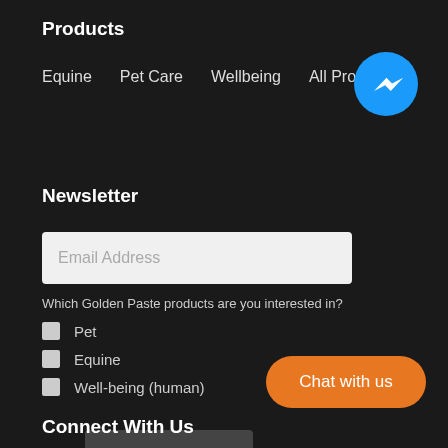Products
Equine
Pet Care
Wellbeing
All Products
[Figure (logo): Facebook Messenger blue circle icon with white lightning bolt chat symbol]
Newsletter
Email Address
Which Golden Paste products are you interested in?
Pet
Equine
Well-being (human)
Subscribe
Chat with us
Connect With Us